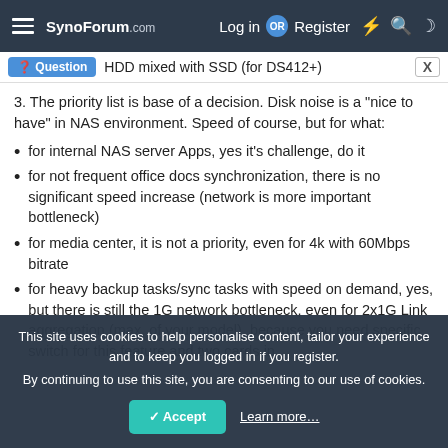SynoForum.com — Log in OR Register
HDD mixed with SSD (for DS412+)
3. The priority list is base of a decision. Disk noise is a "nice to have" in NAS environment. Speed of course, but for what:
for internal NAS server Apps, yes it's challenge, do it
for not frequent office docs synchronization, there is no significant speed increase (network is more important bottleneck)
for media center, it is not a priority, even for 4k with 60Mbps bitrate
for heavy backup tasks/sync tasks with speed on demand, yes, but there is still the 1G network bottleneck, even for 2x1G Link aggregation (max. of your model), because you need specific switch for this feature and two cards in
This site uses cookies to help personalise content, tailor your experience and to keep you logged in if you register.
By continuing to use this site, you are consenting to our use of cookies.